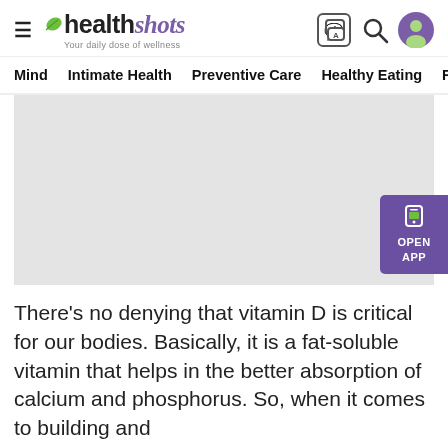healthshots — Your daily dose of wellness
Mind   Intimate Health   Preventive Care   Healthy Eating   F
[Figure (photo): Large grey image placeholder for article hero image with OPEN APP button overlay on the right side]
There's no denying that vitamin D is critical for our bodies. Basically, it is a fat-soluble vitamin that helps in the better absorption of calcium and phosphorus. So, when it comes to building and